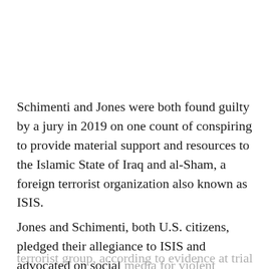Schimenti and Jones were both found guilty by a jury in 2019 on one count of conspiring to provide material support and resources to the Islamic State of Iraq and al-Sham, a foreign terrorist organization also known as ISIS.
Jones and Schimenti, both U.S. citizens, pledged their allegiance to ISIS and advocated on social media for violent extremism in support of the terrorist group, according to evidence at trial